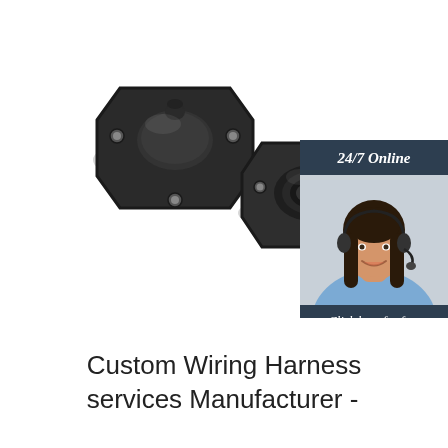[Figure (photo): Two black rubber grommets / wiring harness pass-through connectors with mounting flanges, shown on a white background. One faces upward (showing the protruding nipple), the other faces forward (showing the recessed socket opening).]
[Figure (illustration): Chat widget banner: dark navy background with '24/7 Online' header, a photo of a smiling female customer service agent wearing a headset, italic white text 'Click here for free chat !', and an orange button labeled 'QUOTATION'.]
Custom Wiring Harness services Manufacturer -